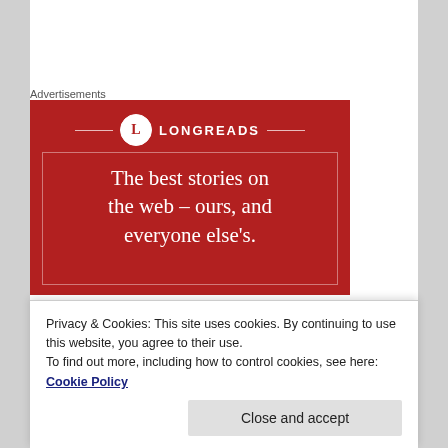Advertisements
[Figure (illustration): Longreads advertisement banner with red background, circle logo with L, decorative lines, and tagline: The best stories on the web – ours, and everyone else's.]
And looking back we can declare our first 'plot to plate'
Privacy & Cookies: This site uses cookies. By continuing to use this website, you agree to their use.
To find out more, including how to control cookies, see here: Cookie Policy
Close and accept